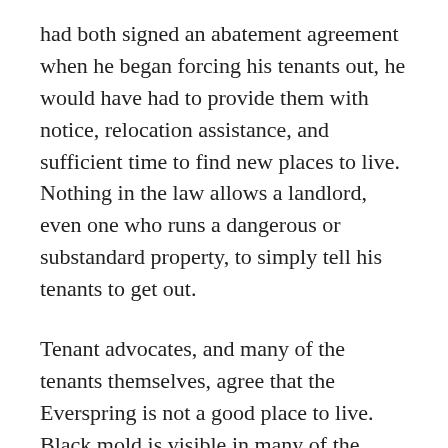had both signed an abatement agreement when he began forcing his tenants out, he would have had to provide them with notice, relocation assistance, and sufficient time to find new places to live. Nothing in the law allows a landlord, even one who runs a dangerous or substandard property, to simply tell his tenants to get out.
Tenant advocates, and many of the tenants themselves, agree that the Everspring is not a good place to live. Black mold is visible in many of the units, and water sometimes drips from the ceilings. Fights are common. But attorneys for the Public Defender Association, which is representing some of the tenants, say even a justified nuisance